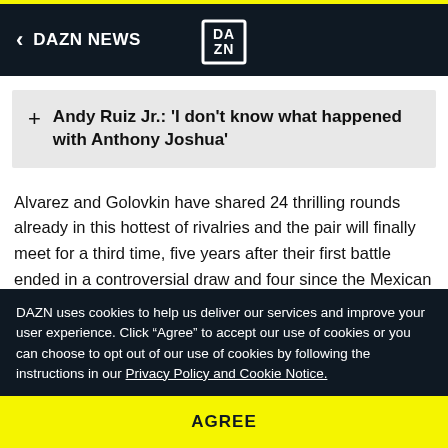DAZN NEWS
+ Andy Ruiz Jr.: 'I don't know what happened with Anthony Joshua'
Alvarez and Golovkin have shared 24 thrilling rounds already in this hottest of rivalries and the pair will finally meet for a third time, five years after their first battle ended in a controversial draw and four since the Mexican superstar edged out Golovkin via majority decision.
Both battles took place in Las Vegas, and while avenue for the
DAZN uses cookies to help us deliver our services and improve your user experience. Click “Agree” to accept our use of cookies or you can choose to opt out of our use of cookies by following the instructions in our Privacy Policy and Cookie Notice.
AGREE